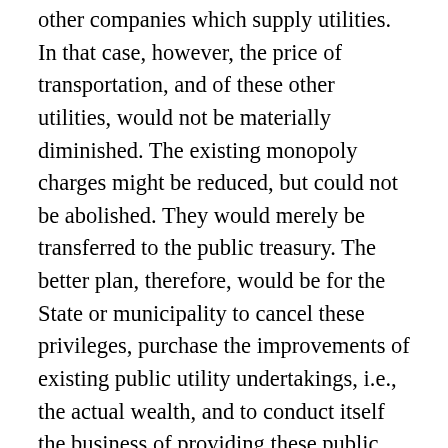other companies which supply utilities. In that case, however, the price of transportation, and of these other utilities, would not be materially diminished. The existing monopoly charges might be reduced, but could not be abolished. They would merely be transferred to the public treasury. The better plan, therefore, would be for the State or municipality to cancel these privileges, purchase the improvements of existing public utility undertakings, i.e., the actual wealth, and to conduct itself the business of providing these public utilities at a price equal to cost. As regards railways, either general or street railways, a third and even preferable course is open. The Government need not do more than own the road and regulate the service to ensure safety and equality, while the actual transportation was carried on by competing private companies having running rights over the same line or lines. Just as the community, through a public body, owns and manages the public streets and roads, and regulates the traffic which